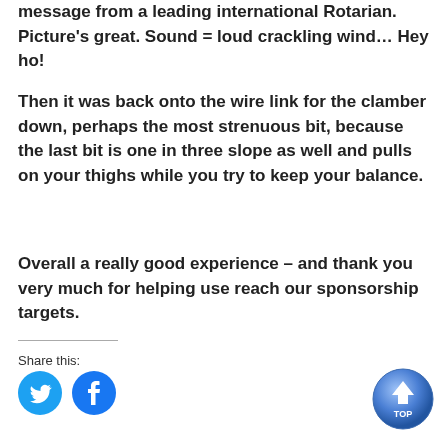message from a leading international Rotarian. Picture's great. Sound = loud crackling wind… Hey ho!
Then it was back onto the wire link for the clamber down, perhaps the most strenuous bit, because the last bit is one in three slope as well and pulls on your thighs while you try to keep your balance.
Overall a really good experience – and thank you very much for helping use reach our sponsorship targets.
Share this:
[Figure (illustration): Twitter and Facebook social share icon buttons (blue circles with white bird and f logos)]
[Figure (illustration): Blue TOP button with upward arrow to scroll to top of page]